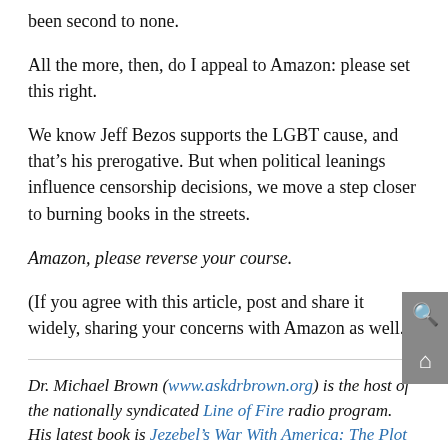been second to none.
All the more, then, do I appeal to Amazon: please set this right.
We know Jeff Bezos supports the LGBT cause, and that’s his prerogative. But when political leanings influence censorship decisions, we move a step closer to burning books in the streets.
Amazon, please reverse your course.
(If you agree with this article, post and share it widely, sharing your concerns with Amazon as well.)
Dr. Michael Brown (www.askdrbrown.org) is the host of the nationally syndicated Line of Fire radio program. His latest book is Jezebel’s War With America: The Plot to Destroy Our Country and What We Can Do to Turn the